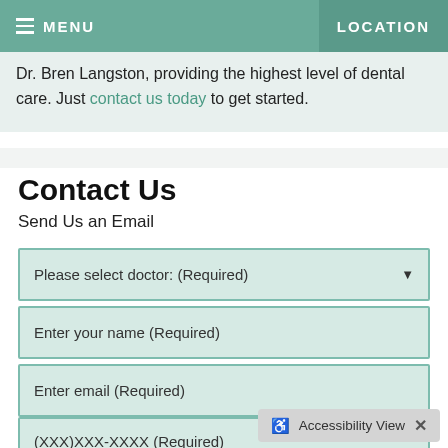MENU   LOCATION
Dr. Bren Langston, providing the highest level of dental care. Just contact us today to get started.
Contact Us
Send Us an Email
Please select doctor: (Required)
Enter your name (Required)
Enter email (Required)
(XXX)XXX-XXXX (Required)
Accessibility View ×